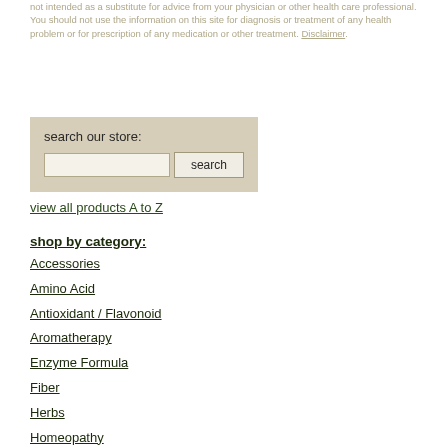not intended as a substitute for advice from your physician or other health care professional. You should not use the information on this site for diagnosis or treatment of any health problem or for prescription of any medication or other treatment. Disclaimer.
[Figure (other): Search store widget with label 'search our store:', a text input field, and a search button]
view all products A to Z
shop by category:
Accessories
Amino Acid
Antioxidant / Flavonoid
Aromatherapy
Enzyme Formula
Fiber
Herbs
Homeopathy
Kids Care
Minerals
Natural Household
Nutritional Juices
Organic Products
Personal Care
Pets Care